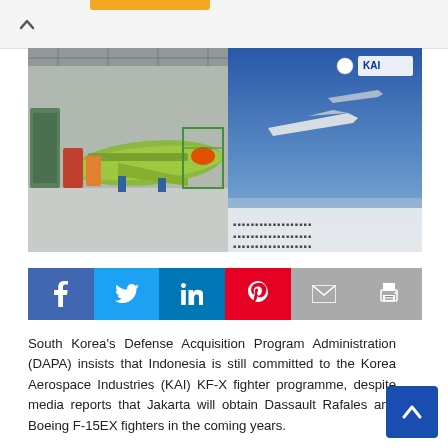[Figure (photo): KAI KF-X fighter aircraft prototype in manufacturing hangar (left panel) and KAI promotional banner/display showing fighter jet renders (right panel)]
[Figure (infographic): Social media sharing bar with Facebook, Twitter, LinkedIn, Pinterest, Email, and Print buttons]
South Korea’s Defense Acquisition Program Administration (DAPA) insists that Indonesia is still committed to the Korea Aerospace Industries (KAI) KF-X fighter programme, despite media reports that Jakarta will obtain Dassault Rafales and Boeing F-15EX fighters in the coming years.